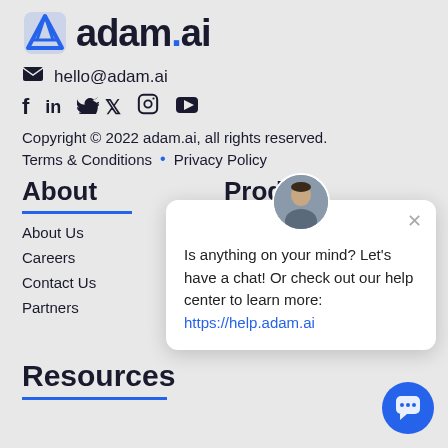[Figure (logo): adam.ai logo with envelope icon and stylized 'adam.ai' text]
hello@adam.ai
[Figure (infographic): Social media icons: Facebook, LinkedIn, Twitter, Instagram, YouTube]
Copyright © 2022 adam.ai, all rights reserved.
Terms & Conditions • Privacy Policy
About
Product
About Us
Features
Careers
Pricing
Contact Us
Enterprise
Partners
Integrations
Roadmap
Resources
[Figure (infographic): Chat popup with avatar photo and message: Is anything on your mind? Let's have a chat! Or check out our help center to learn more: https://help.adam.ai]
[Figure (infographic): Blue circular chat button at bottom right]